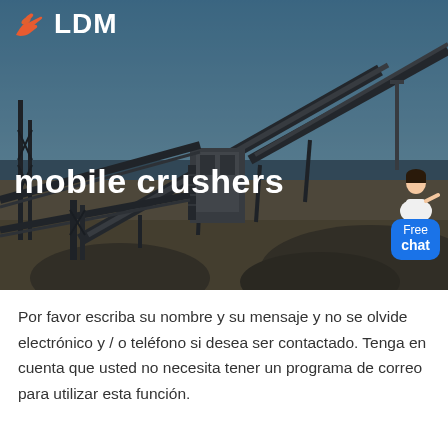[Figure (photo): Industrial mobile crusher machinery/conveyor belts at a quarry site with blue sky background. LDM logo (orange hand icon + LDM text) in top left. 'Free chat' widget with female avatar in bottom right corner.]
mobile crushers
Por favor escriba su nombre y su mensaje y no se olvide electrónico y / o teléfono si desea ser contactado. Tenga en cuenta que usted no necesita tener un programa de correo para utilizar esta función.